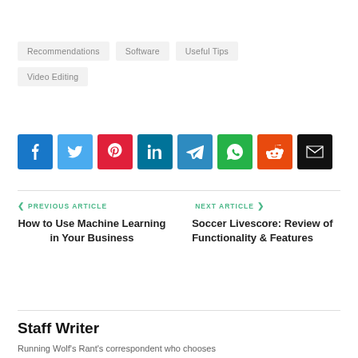Recommendations
Software
Useful Tips
Video Editing
[Figure (other): Social share buttons: Facebook, Twitter, Pinterest, LinkedIn, Telegram, WhatsApp, Reddit, Email]
PREVIOUS ARTICLE — How to Use Machine Learning in Your Business
NEXT ARTICLE — Soccer Livescore: Review of Functionality & Features
Staff Writer
Running Wolf's Rant's correspondent who chooses